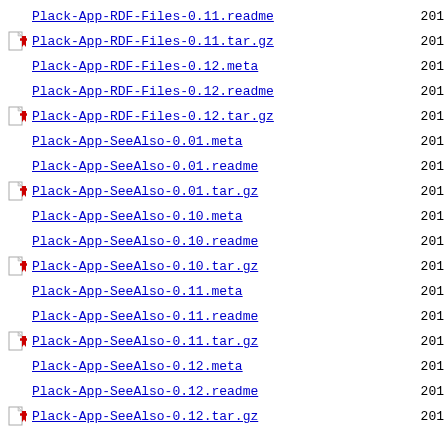Plack-App-RDF-Files-0.11.readme  201
Plack-App-RDF-Files-0.11.tar.gz  201
Plack-App-RDF-Files-0.12.meta  201
Plack-App-RDF-Files-0.12.readme  201
Plack-App-RDF-Files-0.12.tar.gz  201
Plack-App-SeeAlso-0.01.meta  201
Plack-App-SeeAlso-0.01.readme  201
Plack-App-SeeAlso-0.01.tar.gz  201
Plack-App-SeeAlso-0.10.meta  201
Plack-App-SeeAlso-0.10.readme  201
Plack-App-SeeAlso-0.10.tar.gz  201
Plack-App-SeeAlso-0.11.meta  201
Plack-App-SeeAlso-0.11.readme  201
Plack-App-SeeAlso-0.11.tar.gz  201
Plack-App-SeeAlso-0.12.meta  201
Plack-App-SeeAlso-0.12.readme  201
Plack-App-SeeAlso-0.12.tar.gz  201